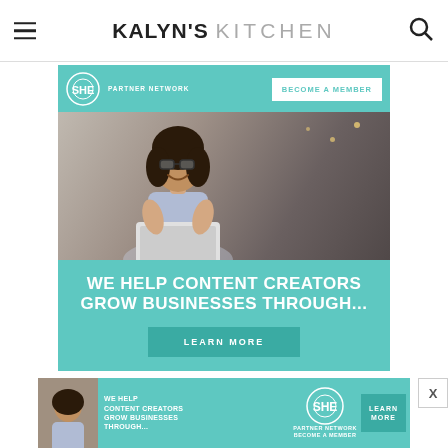KALYN'S KITCHEN
[Figure (illustration): SHE Media Partner Network advertisement banner. Teal background with a woman smiling and holding a laptop. Text: 'WE HELP CONTENT CREATORS GROW BUSINESSES THROUGH...' with a 'LEARN MORE' button and 'BECOME A MEMBER' button at top.]
Report ad
SHARE THIS:
[Figure (illustration): Four social share buttons: Facebook, Twitter, Pinterest, Email]
[Figure (illustration): Bottom banner ad: SHE Media Partner Network - WE HELP CONTENT CREATORS GROW BUSINESSES THROUGH... with LEARN MORE button and BECOME A MEMBER]